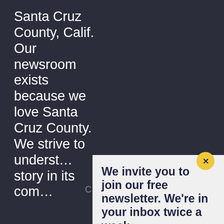Santa Cruz County, Calif. Our newsroom exists because we love Santa Cruz County. We strive to understand every story in its com…
We invite you to join our free newsletter. We're in your inbox twice a week.
Mission
We produce fair and accurate local journalism that holds power to account.
Values
We value integrity, transparency, public trust, and quality over quantity. We aim for truth, depth, context and analysis, not virality, online engagement and speed.